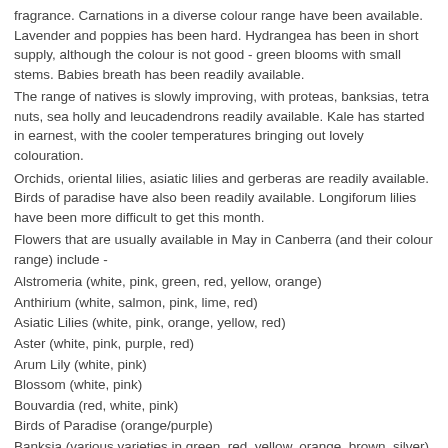fragrance. Carnations in a diverse colour range have been available. Lavender and poppies has been hard. Hydrangea has been in short supply, although the colour is not good - green blooms with small stems. Babies breath has been readily available.
The range of natives is slowly improving, with proteas, banksias, tetra nuts, sea holly and leucadendrons readily available. Kale has started in earnest, with the cooler temperatures bringing out lovely colouration.
Orchids, oriental lilies, asiatic lilies and gerberas are readily available. Birds of paradise have also been readily available. Longiforum lilies have been more difficult to get this month.
Flowers that are usually available in May in Canberra (and their colour range) include -
Alstromeria (white, pink, green, red, yellow, orange)
Anthirium (white, salmon, pink, lime, red)
Asiatic Lilies (white, pink, orange, yellow, red)
Aster (white, pink, purple, red)
Arum Lily (white, pink)
Blossom (white, pink)
Bouvardia (red, white, pink)
Birds of Paradise (orange/purple)
Banksia (various varieties in green, red, yellow, orange, brown, silver)
Celosia (various varieties - red, orange, yellow)
Chrysanthemum (various varieties - white, pink, red, green, yellow, lilac, orange)
Cocklebur (red/white/blue) also known as yellow or blue